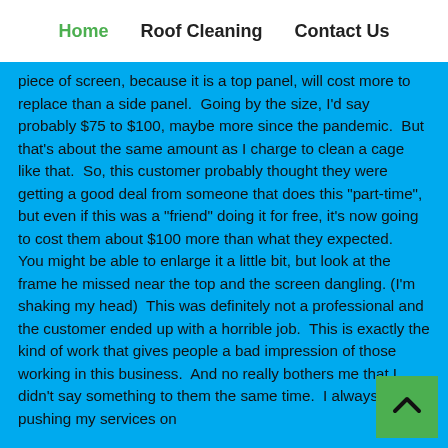Home  Roof Cleaning  Contact Us
piece of screen, because it is a top panel, will cost more to replace than a side panel.  Going by the size, I'd say probably $75 to $100, maybe more since the pandemic.  But that's about the same amount as I charge to clean a cage like that.  So, this customer probably thought they were getting a good deal from someone that does this "part-time", but even if this was a "friend" doing it for free, it's now going to cost them about $100 more than what they expected.   You might be able to enlarge it a little bit, but look at the frame he missed near the top and the screen dangling. (I'm shaking my head)  This was definitely not a professional and the customer ended up with a horrible job.  This is exactly the kind of work that gives people a bad impression of those working in this business.  And no really bothers me that I didn't say something to them the same time.  I always hate pushing my services on